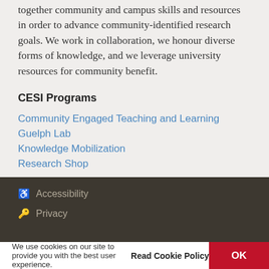together community and campus skills and resources in order to advance community-identified research goals. We work in collaboration, we honour diverse forms of knowledge, and we leverage university resources for community benefit.
CESI Programs
Community Engaged Teaching and Learning
Guelph Lab
Knowledge Mobilization
Research Shop
♿ Accessibility
🔑 Privacy
We use cookies on our site to provide you with the best user experience.
Read Cookie Policy    OK